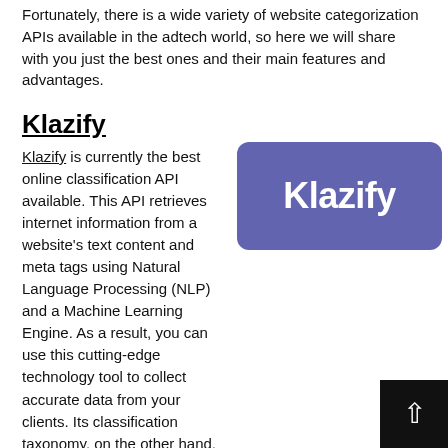Fortunately, there is a wide variety of website categorization APIs available in the adtech world, so here we will share with you just the best ones and their main features and advantages.
Klazify
[Figure (logo): Klazify logo: white text 'Klazify' on a purple/indigo rounded rectangle background]
Klazify is currently the best online classification API available. This API retrieves internet information from a website's text content and meta tags using Natural Language Processing (NLP) and a Machine Learning Engine. As a result, you can use this cutting-edge technology tool to collect accurate data from your clients. Its classification taxonomy, on the other hand, is based on the IAV B2 standard and can be used for 1-to-1 personalization, marketing segmentation, internet blocking, and other applications.